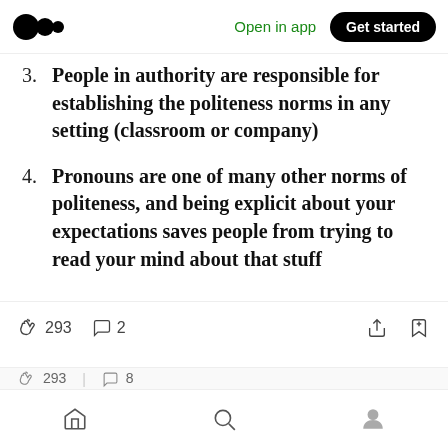Medium app header — Open in app | Get started
3. People in authority are responsible for establishing the politeness norms in any setting (classroom or company)
4. Pronouns are one of many other norms of politeness, and being explicit about your expectations saves people from trying to read your mind about that stuff
293 claps · 2 comments · share · bookmark | home · search · profile